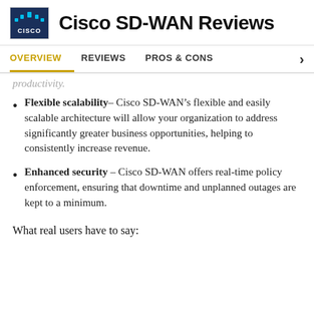Cisco SD-WAN Reviews
OVERVIEW | REVIEWS | PROS & CONS
productivity.
Flexible scalability– Cisco SD-WAN's flexible and easily scalable architecture will allow your organization to address significantly greater business opportunities, helping to consistently increase revenue.
Enhanced security – Cisco SD-WAN offers real-time policy enforcement, ensuring that downtime and unplanned outages are kept to a minimum.
What real users have to say: